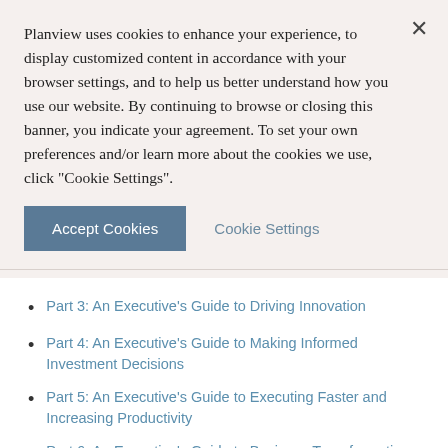Planview uses cookies to enhance your experience, to display customized content in accordance with your browser settings, and to help us better understand how you use our website. By continuing to browse or closing this banner, you indicate your agreement. To set your own preferences and/or learn more about the cookies we use, click "Cookie Settings".
Accept Cookies
Cookie Settings
Part 3: An Executive's Guide to Driving Innovation
Part 4: An Executive's Guide to Making Informed Investment Decisions
Part 5: An Executive's Guide to Executing Faster and Increasing Productivity
Part 6: An Executive's Guide to Business Transformation